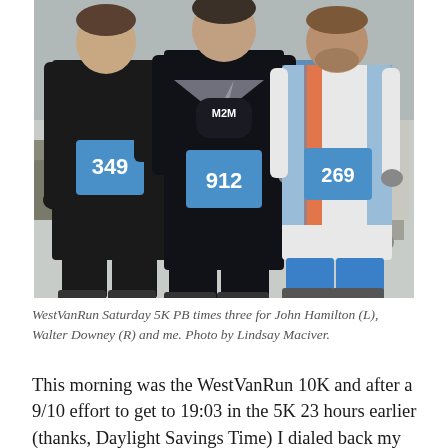[Figure (photo): Three runners posing after a race wearing black athletic gear and race bibs numbered 349, 912, and 269. The middle runner wears an M2M running club shirt. Background shows a waterfront or park setting.]
WestVanRun Saturday 5K PB times three for John Hamilton (L), Walter Downey (R) and me. Photo by Lindsay Maciver.
This morning was the WestVanRun 10K and after a 9/10 effort to get to 19:03 in the 5K 23 hours earlier (thanks, Daylight Savings Time) I dialed back my expectations. I'd wanted to try